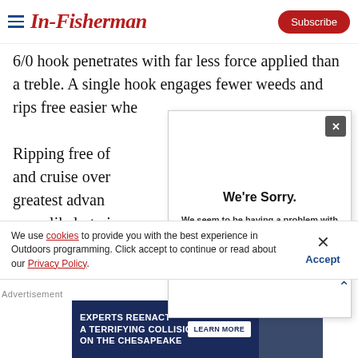In-Fisherman | Subscribe
6/0 hook penetrates with far less force applied than a treble. A single hook engages fewer weeds and rips free easier whe...
[Figure (screenshot): Video error popup overlay with 'We're Sorry.' title and message 'We seem to be having a problem with the video you've selected.' with a close X button]
Ripping free of... and cruise over... greatest advan... more likely to i... because they see so few of them. Sweep the rod to
We use cookies to provide you with the best experience in Outdoors programming. Click accept to continue or read about our Privacy Policy.
Advertisement
[Figure (screenshot): Advertisement banner: EXPERTS REENACT A TERRIFYING COLLISION ON THE CHESAPEAKE with LEARN MORE button]